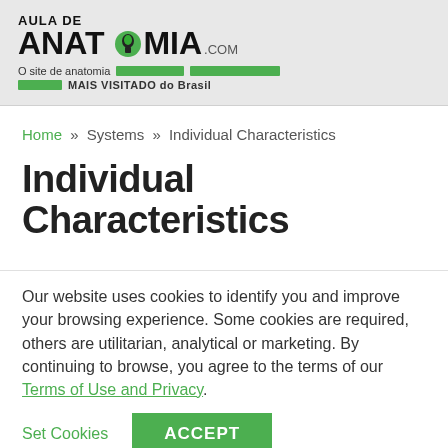[Figure (logo): Aula de Anatomia .com logo with stylized brain icon and tagline 'O site de anatomia MAIS VISITADO do Brasil' with green bars]
Home » Systems » Individual Characteristics
Individual Characteristics
Our website uses cookies to identify you and improve your browsing experience. Some cookies are required, others are utilitarian, analytical or marketing. By continuing to browse, you agree to the terms of our Terms of Use and Privacy.
Set Cookies   ACCEPT